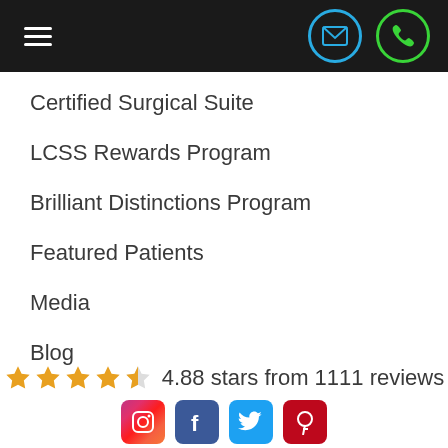[Figure (screenshot): Navigation header bar with hamburger menu icon, email icon in blue circle, and phone icon in green circle on black background]
Certified Surgical Suite
LCSS Rewards Program
Brilliant Distinctions Program
Featured Patients
Media
Blog
4.88 stars from 1111 reviews
[Figure (illustration): Social media icons: Instagram, Facebook, Twitter, Pinterest]